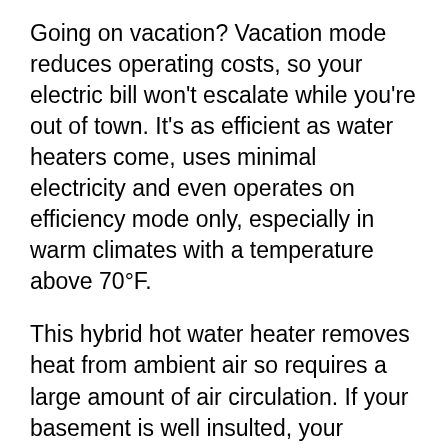Going on vacation? Vacation mode reduces operating costs, so your electric bill won't escalate while you're out of town. It's as efficient as water heaters come, uses minimal electricity and even operates on efficiency mode only, especially in warm climates with a temperature above 70°F.
This hybrid hot water heater removes heat from ambient air so requires a large amount of air circulation. If your basement is well insulted, your compressor will run longer. While it's quiet, noise levels vary from model to model of the same product.
Be sure to install the unit as far away as possible from the other side of a bedroom or office wall to ensure unnecessary disruptive